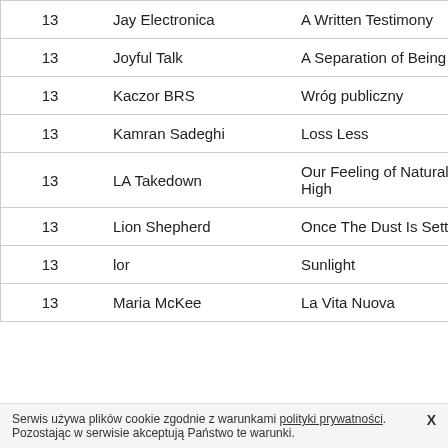| # | Artist | Album |  |
| --- | --- | --- | --- |
| 13 | Jay Electronica | A Written Testimony | I |
| 13 | Joyful Talk | A Separation of Being | C |
| 13 | Kaczor BRS | Wróg publiczny |  |
| 13 | Kamran Sadeghi | Loss Less | I |
| 13 | LA Takedown | Our Feeling of Natural High | C |
| 13 | Lion Shepherd | Once The Dust Is Settled | I |
| 13 | lor | Sunlight |  |
| 13 | Maria McKee | La Vita Nuova | A |
Serwis używa plików cookie zgodnie z warunkami polityki prywatności. Pozostając w serwisie akceptują Państwo te warunki.